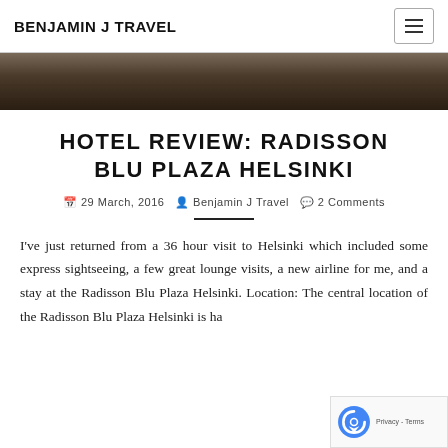BENJAMIN J TRAVEL
[Figure (photo): Dark brown wooden surface or hotel interior detail, cropped hero image strip]
HOTEL REVIEW: RADISSON BLU PLAZA HELSINKI
29 March, 2016  Benjamin J Travel  2 Comments
I've just returned from a 36 hour visit to Helsinki which included some express sightseeing, a few great lounge visits, a new airline for me, and a stay at the Radisson Blu Plaza Helsinki. Location: The central location of the Radisson Blu Plaza Helsinki is ha…